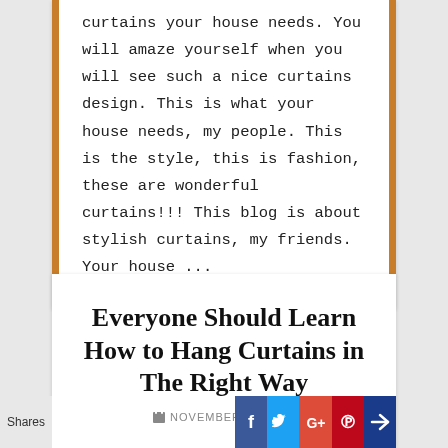curtains your house needs. You will amaze yourself when you will see such a nice curtains design. This is what your house needs, my people. This is the style, this is fashion, these are wonderful curtains!!! This blog is about stylish curtains, my friends. Your house ...
Everyone Should Learn How to Hang Curtains in The Right Way
NOVEMBER 14, 2016